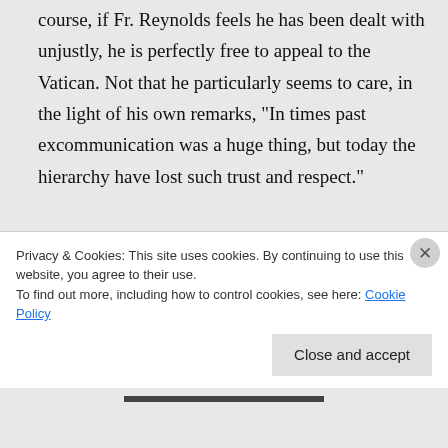course, if Fr. Reynolds feels he has been dealt with unjustly, he is perfectly free to appeal to the Vatican. Not that he particularly seems to care, in the light of his own remarks, "In times past excommunication was a huge thing, but today the hierarchy have lost such trust and respect."
At any rate, given Pope Francis's words of encouragement even to atheists who sincerely follow their own consciences, he
Privacy & Cookies: This site uses cookies. By continuing to use this website, you agree to their use.
To find out more, including how to control cookies, see here: Cookie Policy
Close and accept